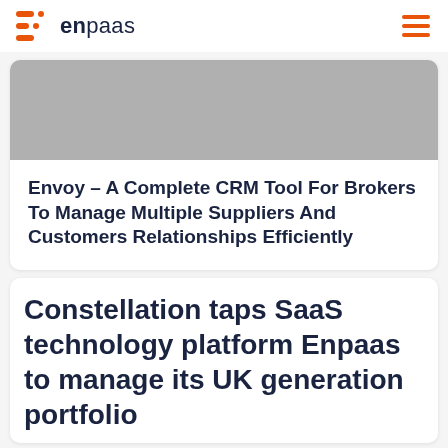enpaas
[Figure (illustration): Grey placeholder image at top of article card]
Envoy – A Complete CRM Tool For Brokers To Manage Multiple Suppliers And Customers Relationships Efficiently
Constellation taps SaaS technology platform Enpaas to manage its UK generation portfolio